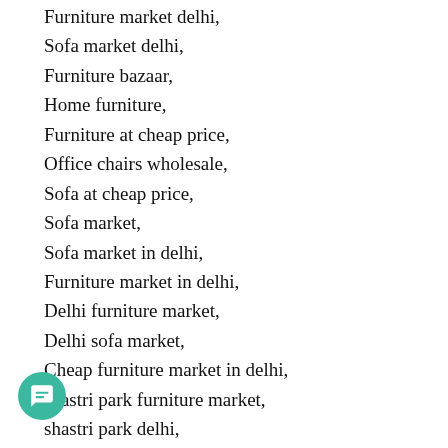Furniture market delhi,
Sofa market delhi,
Furniture bazaar,
Home furniture,
Furniture at cheap price,
Office chairs wholesale,
Sofa at cheap price,
Sofa market,
Sofa market in delhi,
Furniture market in delhi,
Delhi furniture market,
Delhi sofa market,
Cheap furniture market in delhi,
shastri park furniture market,
shastri park delhi,
imported furniture in delhi,
g size bed,
cheapest furniture market in Delhi,